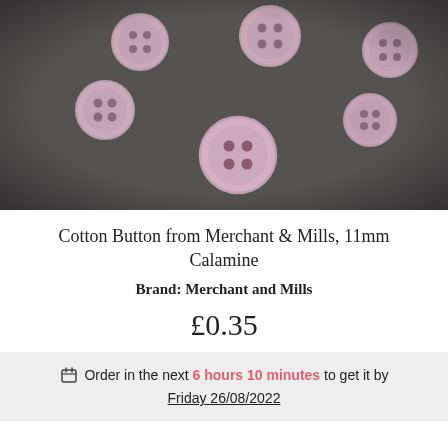[Figure (photo): Multiple small round dusty pink/mauve 4-hole cotton buttons scattered on a dark grey slate background. The buttons are photographed from above with selective focus.]
Cotton Button from Merchant & Mills, 11mm Calamine
Brand: Merchant and Mills
£0.35
Order in the next 6 hours 10 minutes to get it by Friday 26/08/2022